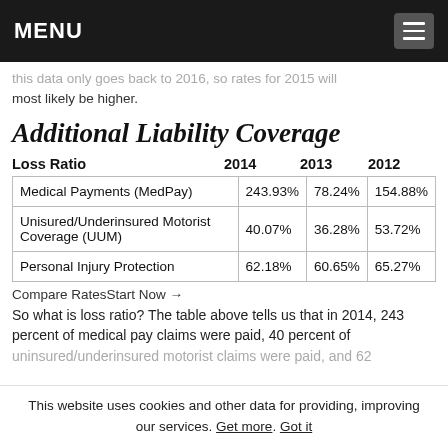MENU
this data only goes back to 2016, so rates for 2015 will most likely be higher.
Additional Liability Coverage
| Loss Ratio | 2014 | 2013 | 2012 |
| --- | --- | --- | --- |
| Medical Payments (MedPay) | 243.93% | 78.24% | 154.88% |
| Unisured/Underinsured Motorist Coverage (UUM) | 40.07% | 36.28% | 53.72% |
| Personal Injury Protection | 62.18% | 60.65% | 65.27% |
Compare RatesStart Now →
So what is loss ratio? The table above tells us that in 2014, 243 percent of medical pay claims were paid, 40 percent of uninsured/underinsured motorist claims were paid, and 62...
This website uses cookies and other data for providing, improving our services. Get more. Got it